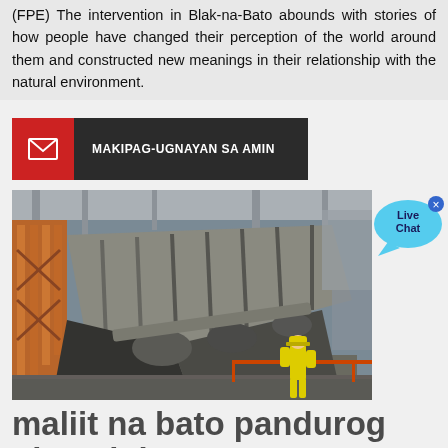(FPE) The intervention in Blak-na-Bato abounds with stories of how people have changed their perception of the world around them and constructed new meanings in their relationship with the natural environment.
[Figure (other): Red and dark grey contact button bar reading MAKIPAG-UGNAYAN SA AMIN with envelope icon]
[Figure (photo): Industrial heavy machinery, large crusher or mill equipment inside a factory/plant, with a worker in yellow hard hat and coveralls visible in the foreground]
[Figure (other): Live Chat speech bubble widget in light blue with x close button]
maliit na bato pandurog ginamit bato quarry halaman india